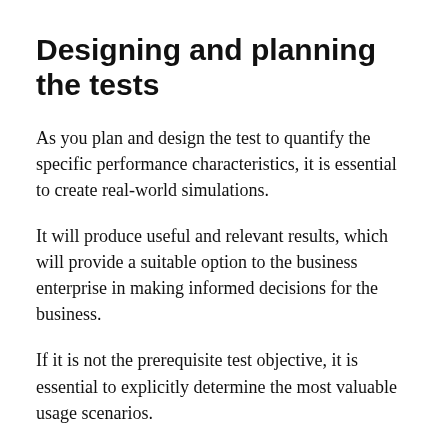Designing and planning the tests
As you plan and design the test to quantify the specific performance characteristics, it is essential to create real-world simulations.
It will produce useful and relevant results, which will provide a suitable option to the business enterprise in making informed decisions for the business.
If it is not the prerequisite test objective, it is essential to explicitly determine the most valuable usage scenarios.